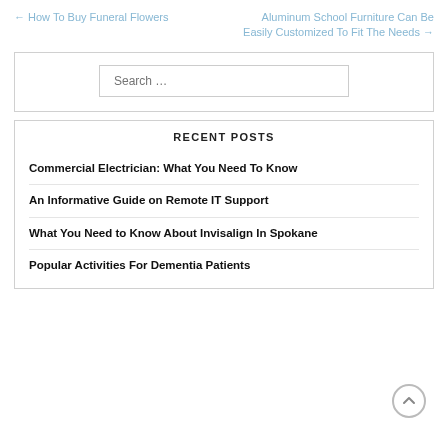← How To Buy Funeral Flowers
Aluminum School Furniture Can Be Easily Customized To Fit The Needs →
[Figure (screenshot): Search input box with placeholder text 'Search ...']
RECENT POSTS
Commercial Electrician: What You Need To Know
An Informative Guide on Remote IT Support
What You Need to Know About Invisalign In Spokane
Popular Activities For Dementia Patients